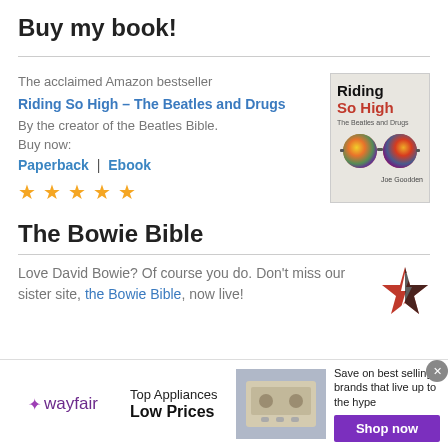Buy my book!
The acclaimed Amazon bestseller Riding So High – The Beatles and Drugs By the creator of the Beatles Bible. Buy now: Paperback | Ebook ★★★★★
[Figure (illustration): Book cover for 'Riding So High – The Beatles and Drugs' by Joe Goodden, showing psychedelic round glasses on a light grey background]
The Bowie Bible
Love David Bowie? Of course you do. Don't miss our sister site, the Bowie Bible, now live!
[Figure (logo): Bowie Bible star logo — red and black lightning bolt star]
wayfair Top Appliances Low Prices Save on best selling brands that live up to the hype Shop now